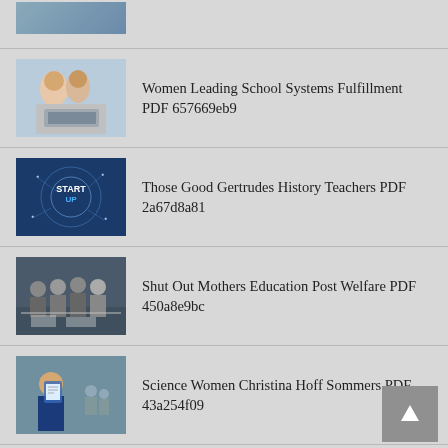(partial image at top)
Women Leading School Systems Fulfillment PDF 657669eb9
Those Good Gertrudes History Teachers PDF 2a67d8a81
Shut Out Mothers Education Post Welfare PDF 450a8e9bc
Science Women Christina Hoff Sommers PDF 43a254f09
Chocolate Womans Soul II Celebrate PDF 1d7c2ee1f